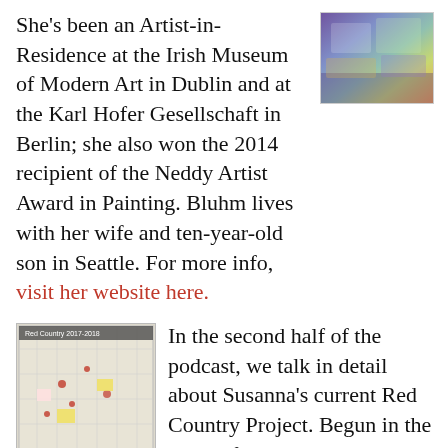She's been an Artist-in-Residence at the Irish Museum of Modern Art in Dublin and at the Karl Hofer Gesellschaft in Berlin; she also won the 2014 recipient of the Neddy Artist Award in Painting. Bluhm lives with her wife and ten-year-old son in Seattle. For more info, visit her website here.
[Figure (photo): Photo of colorful artwork papers laid out on a surface, with purple and green tones visible.]
[Figure (photo): Photo of a map labeled 'Red Country 2017-2018' with red markings and notes pinned to it.]
In the second half of the podcast, we talk in detail about Susanna's current Red Country Project. Begun in the wake of the 2016 election, her Red Country Project entails visits to predominantly red states, conversations and notes and blog posts, and a subsequent series of paintings. To find out more about the project, here's a link.